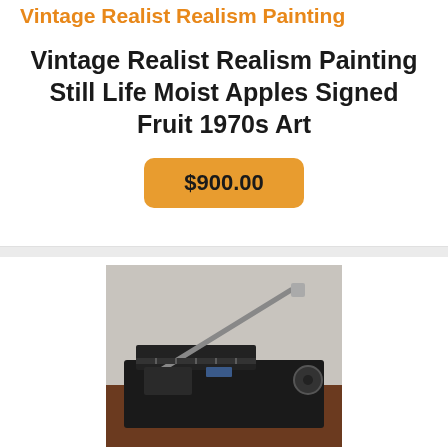Vintage Realist Realism Painting
Vintage Realist Realism Painting Still Life Moist Apples Signed Fruit 1970s Art
$900.00
[Figure (photo): Photo of a black heavy-duty paper cutter/guillotine trimmer on a dark wood surface against a light gray wall.]